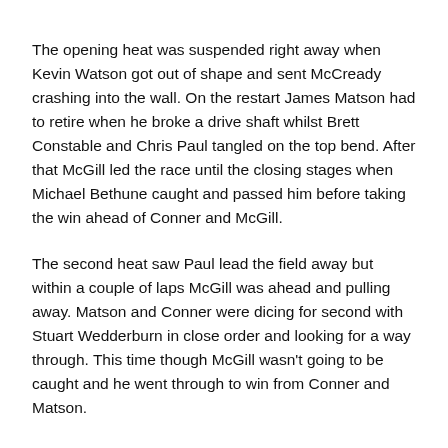The opening heat was suspended right away when Kevin Watson got out of shape and sent McCready crashing into the wall. On the restart James Matson had to retire when he broke a drive shaft whilst Brett Constable and Chris Paul tangled on the top bend. After that McGill led the race until the closing stages when Michael Bethune caught and passed him before taking the win ahead of Conner and McGill.
The second heat saw Paul lead the field away but within a couple of laps McGill was ahead and pulling away. Matson and Conner were dicing for second with Stuart Wedderburn in close order and looking for a way through. This time though McGill wasn't going to be caught and he went through to win from Conner and Matson.
The final was full of close dicing with Paul leading the field away whilst Conner had his hands full in trying to keep Wedderburn at bay. McGill moved into third but then retired on the back straight as Conner dived through into the lead. Wedderburn's challenge began to drop away and when he retired it was Kevin Forrester who moved into second place. Bethune was making up round and he moved into